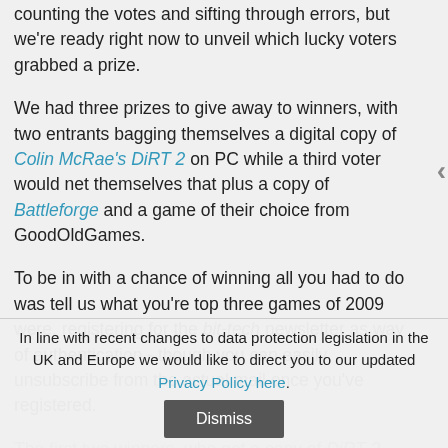counting the votes and sifting through errors, but we're ready right now to unveil which lucky voters grabbed a prize.
We had three prizes to give away to winners, with two entrants bagging themselves a digital copy of Colin McRae's DiRT 2 on PC while a third voter would net themselves that plus a copy of Battleforge and a game of their choice from GoodOldGames.
To be in with a chance of winning all you had to do was tell us what you're top three games of 2009 were, registering for the bit-tech newsletter as way of authentication - though you can easily unsubscribe from the actual mail once you've registered.
The first two winners, who get a copy of DiRT 2, were
In line with recent changes to data protection legislation in the UK and Europe we would like to direct you to our updated Privacy Policy here. Dismiss